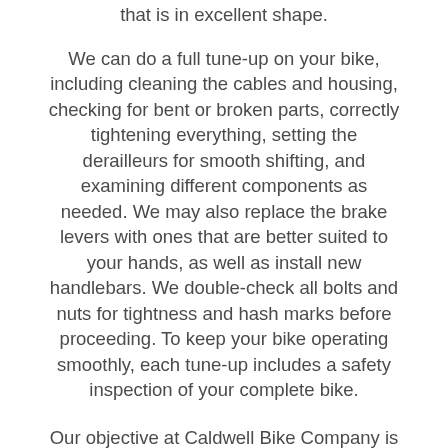that is in excellent shape.
We can do a full tune-up on your bike, including cleaning the cables and housing, checking for bent or broken parts, correctly tightening everything, setting the derailleurs for smooth shifting, and examining different components as needed. We may also replace the brake levers with ones that are better suited to your hands, as well as install new handlebars. We double-check all bolts and nuts for tightness and hash marks before proceeding. To keep your bike operating smoothly, each tune-up includes a safety inspection of your complete bike.
Our objective at Caldwell Bike Company is to get you on your bike as soon as possible. Our primary concerns are your safety and happiness. Because of our